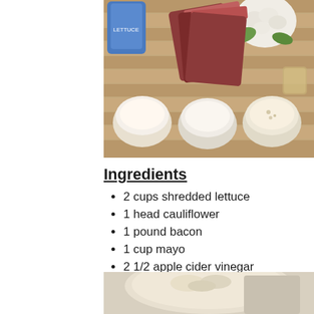[Figure (photo): Overhead view of recipe ingredients on a wooden surface: bacon, cauliflower, lettuce, mayo, cream, parmesan cheese, and apple cider vinegar in various bowls and containers.]
Ingredients
2 cups shredded lettuce
1 head cauliflower
1 pound bacon
1 cup mayo
2 1/2 apple cider vinegar
1/4 cup white sugar
1 cup Parmesan cheese
[Figure (photo): Close-up of finished cauliflower bacon salad in a white bowl.]